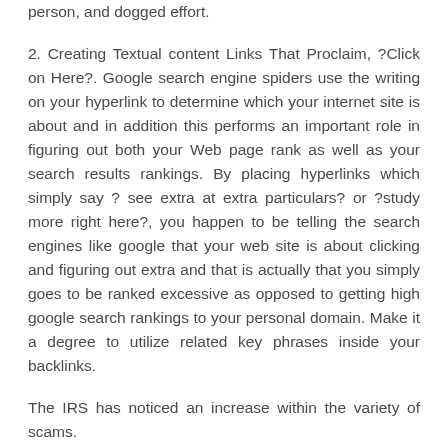person, and dogged effort.
2. Creating Textual content Links That Proclaim, ?Click on Here?. Google search engine spiders use the writing on your hyperlink to determine which your internet site is about and in addition this performs an important role in figuring out both your Web page rank as well as your search results rankings. By placing hyperlinks which simply say ? see extra at extra particulars? or ?study more right here?, you happen to be telling the search engines like google that your web site is about clicking and figuring out extra and that is actually that you simply goes to be ranked excessive as opposed to getting high google search rankings to your personal domain. Make it a degree to utilize related key phrases inside your backlinks.
The IRS has noticed an increase within the variety of scams.